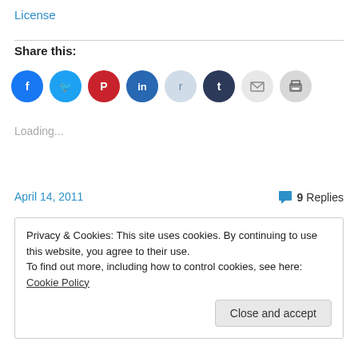License
Share this:
[Figure (other): Row of social media sharing icon circles: Facebook (blue), Twitter (blue), Pinterest (red), LinkedIn (teal), Reddit (light blue), Tumblr (dark navy), Email (light gray), Print (gray)]
Loading...
April 14, 2011
9 Replies
Privacy & Cookies: This site uses cookies. By continuing to use this website, you agree to their use.
To find out more, including how to control cookies, see here: Cookie Policy